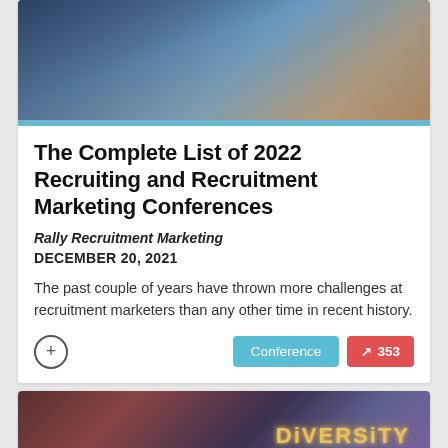[Figure (photo): Blurred photo of a laptop with a microphone in the foreground at a conference or presentation setting]
The Complete List of 2022 Recruiting and Recruitment Marketing Conferences
Rally Recruitment Marketing
DECEMBER 20, 2021
The past couple of years have thrown more challenges at recruitment marketers than any other time in recent history.
Conference  353
[Figure (photo): Photo of headphones with glowing DIVERSITY text in warm golden light on a dark background]